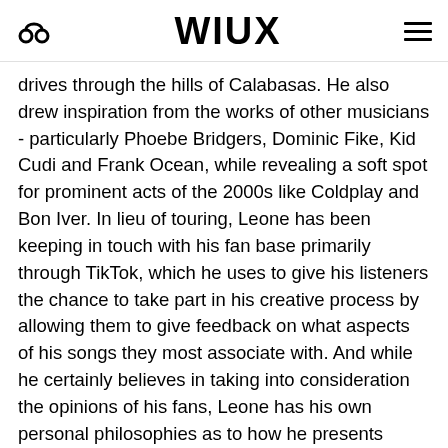WIUX
drives through the hills of Calabasas. He also drew inspiration from the works of other musicians - particularly Phoebe Bridgers, Dominic Fike, Kid Cudi and Frank Ocean, while revealing a soft spot for prominent acts of the 2000s like Coldplay and Bon Iver. In lieu of touring, Leone has been keeping in touch with his fan base primarily through TikTok, which he uses to give his listeners the chance to take part in his creative process by allowing them to give feedback on what aspects of his songs they most associate with. And while he certainly believes in taking into consideration the opinions of his fans, Leone has his own personal philosophies as to how he presents himself. One of his most prominent traits is his avoidance of loops and samples. His approach to songwriting and production is to create a sound that is new to the listener, but wrapped in an